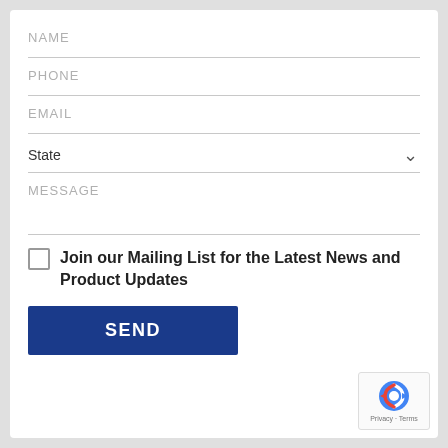NAME
PHONE
EMAIL
State
MESSAGE
Join our Mailing List for the Latest News and Product Updates
SEND
[Figure (logo): reCAPTCHA badge with Google logo and Privacy - Terms text]